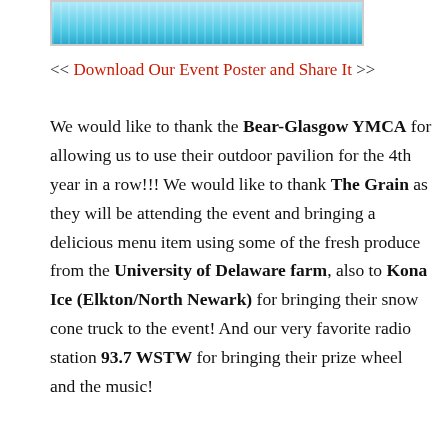[Figure (illustration): Partial view of an event poster with a cyan/blue gradient background and decorative wave pattern at the bottom, shown cropped at the top of the page.]
<< Download Our Event Poster and Share It >>
We would like to thank the Bear-Glasgow YMCA for allowing us to use their outdoor pavilion for the 4th year in a row!!! We would like to thank The Grain as they will be attending the event and bringing a delicious menu item using some of the fresh produce from the University of Delaware farm, also to Kona Ice (Elkton/North Newark) for bringing their snow cone truck to the event! And our very favorite radio station 93.7 WSTW for bringing their prize wheel and the music!